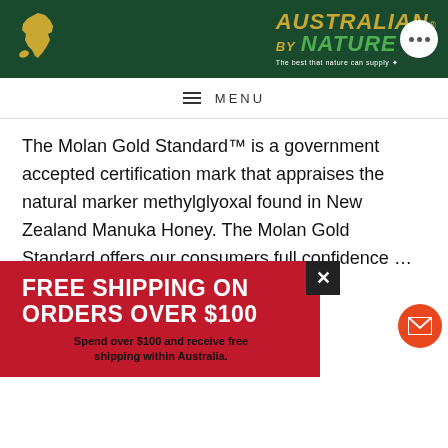[Figure (logo): Australian By Nature logo with gold Australia map silhouette and green text on dark green background, tagline 'The best that nature can supply']
≡  MENU
The Molan Gold Standard™ is a government accepted certification mark that appraises the natural marker methylglyoxal found in New Zealand Manuka Honey. The Molan Gold Standard offers our consumers full confidence ...entifically ...imed MGO
[Figure (infographic): FREE SHIPPING ON ORDERS OVER $100 banner in red with close button. Below: 'Spend over $100 and receive free shipping within Australia.']
...eveloped and